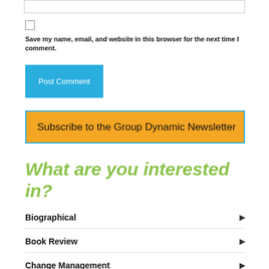[Figure (screenshot): Input text field (empty)]
[Figure (screenshot): Checkbox (unchecked)]
Save my name, email, and website in this browser for the next time I comment.
[Figure (screenshot): Blue 'Post Comment' button]
[Figure (screenshot): Orange 'Subscribe to the Group Dynamic Newsletter' button with blue border]
What are you interested in?
Biographical
Book Review
Change Management